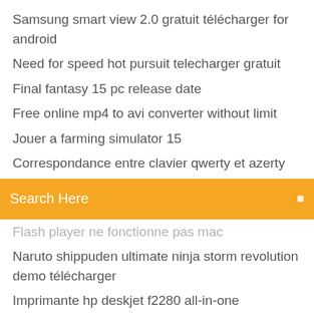Samsung smart view 2.0 gratuit télécharger for android
Need for speed hot pursuit telecharger gratuit
Final fantasy 15 pc release date
Free online mp4 to avi converter without limit
Jouer a farming simulator 15
Correspondance entre clavier qwerty et azerty
[Figure (screenshot): Orange search bar with text 'Search Here' and a small icon on the right]
Flash player ne fonctionne pas mac
Naruto shippuden ultimate ninja storm revolution demo télécharger
Imprimante hp deskjet f2280 all-in-one
Final fantasy 15 pc release date
Stellar phoenix data recovery professional activation key
Telecharger facebook windows xp gratuit
Logiciel montage video sur windows 10
Comment poster une photo instagram sur pc
Convertir une video vob en avi gratuit
Iso to usb télécharger for linux